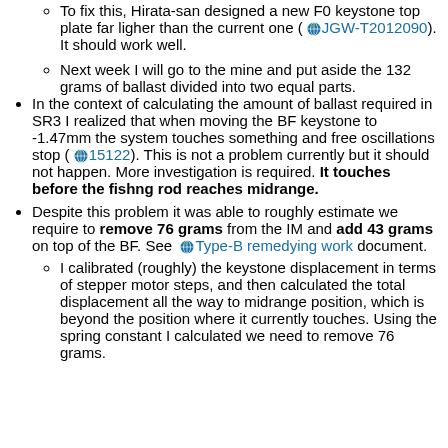To fix this, Hirata-san designed a new F0 keystone top plate far ligher than the current one (JGW-T2012090). It should work well.
Next week I will go to the mine and put aside the 132 grams of ballast divided into two equal parts.
In the context of calculating the amount of ballast required in SR3 I realized that when moving the BF keystone to -1.47mm the system touches something and free oscillations stop (15122). This is not a problem currently but it should not happen. More investigation is required. It touches before the fishng rod reaches midrange.
Despite this problem it was able to roughly estimate we require to remove 76 grams from the IM and add 43 grams on top of the BF. See Type-B remedying work document.
I calibrated (roughly) the keystone displacement in terms of stepper motor steps, and then calculated the total displacement all the way to midrange position, which is beyond the position where it currently touches. Using the spring constant I calculated we need to remove 76 grams.